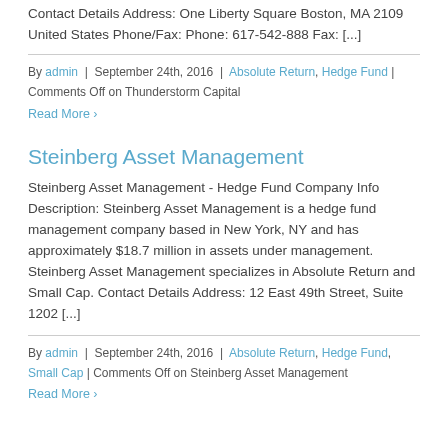Contact Details Address: One Liberty Square Boston, MA 2109 United States Phone/Fax: Phone: 617-542-888 Fax: [...]
By admin | September 24th, 2016 | Absolute Return, Hedge Fund | Comments Off on Thunderstorm Capital
Read More
Steinberg Asset Management
Steinberg Asset Management - Hedge Fund Company Info Description: Steinberg Asset Management is a hedge fund management company based in New York, NY and has approximately $18.7 million in assets under management. Steinberg Asset Management specializes in Absolute Return and Small Cap. Contact Details Address: 12 East 49th Street, Suite 1202 [...]
By admin | September 24th, 2016 | Absolute Return, Hedge Fund, Small Cap | Comments Off on Steinberg Asset Management
Read More